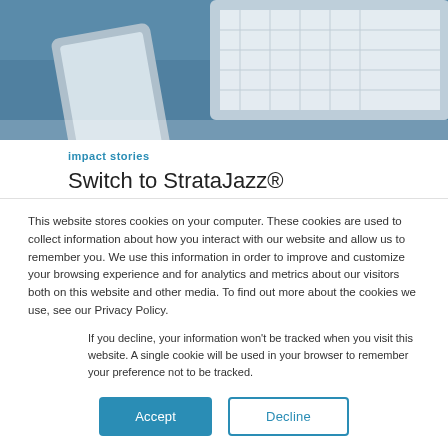[Figure (photo): Photo of a tablet and phone on a blue surface, seen from above, used as a header image for an impact story article.]
impact stories
Switch to StrataJazz® Platform Helps Automate
This website stores cookies on your computer. These cookies are used to collect information about how you interact with our website and allow us to remember you. We use this information in order to improve and customize your browsing experience and for analytics and metrics about our visitors both on this website and other media. To find out more about the cookies we use, see our Privacy Policy.
If you decline, your information won't be tracked when you visit this website. A single cookie will be used in your browser to remember your preference not to be tracked.